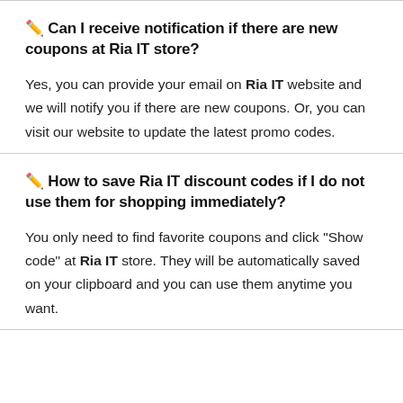🖊 Can I receive notification if there are new coupons at Ria IT store?
Yes, you can provide your email on Ria IT website and we will notify you if there are new coupons. Or, you can visit our website to update the latest promo codes.
🖊 How to save Ria IT discount codes if I do not use them for shopping immediately?
You only need to find favorite coupons and click "Show code" at Ria IT store. They will be automatically saved on your clipboard and you can use them anytime you want.